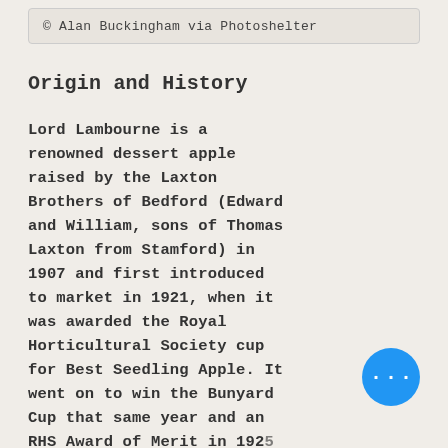© Alan Buckingham via Photoshelter
Origin and History
Lord Lambourne is a renowned dessert apple raised by the Laxton Brothers of Bedford (Edward and William, sons of Thomas Laxton from Stamford) in 1907 and first introduced to market in 1921, when it was awarded the Royal Horticultural Society cup for Best Seedling Apple. It went on to win the Bunyard Cup that same year and an RHS Award of Merit in 1925. Lord Lambourne is a cross between James Grieve and Worcester Pearmain and was